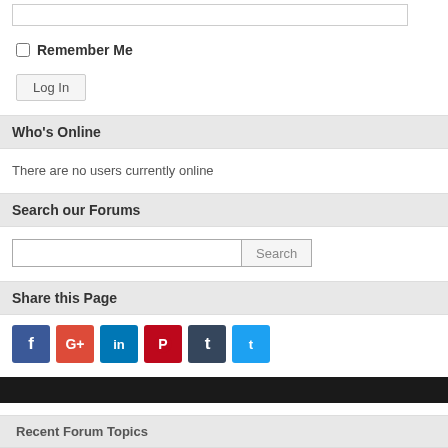[Figure (screenshot): Login form top portion with input box (partially visible at top)]
Remember Me checkbox
Log In button
Who's Online
There are no users currently online
Search our Forums
Search input field with Search button
Share this Page
[Figure (infographic): Social media share icons: Facebook (blue), Google+ (red), LinkedIn (blue), Pinterest (red), Tumblr (dark blue), Twitter (light blue)]
Recent Forum Topics